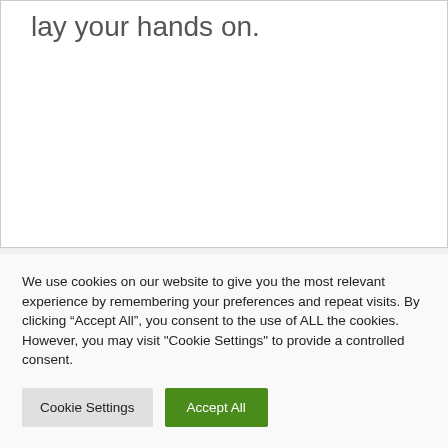lay your hands on.
We use cookies on our website to give you the most relevant experience by remembering your preferences and repeat visits. By clicking “Accept All”, you consent to the use of ALL the cookies. However, you may visit "Cookie Settings" to provide a controlled consent.
Cookie Settings
Accept All